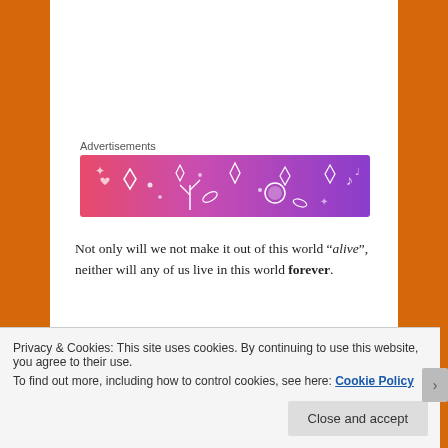Advertisements
[Figure (illustration): Colorful advertisement banner with gradient from pink/red to purple, featuring decorative icons (music notes, leaves, crystals, lantern) in white outline style]
Not only will we not make it out of this world “alive”, neither will any of us live in this world forever.
The world cycles. Things change. The Great Pendulum of History swings back and forth without ceasing. All attempts to speed up its travel or to freeze it at a particular moment of time end in failure and destruction for those who make the attempt. In point of fact, a reading of History is salubrious for
Privacy & Cookies: This site uses cookies. By continuing to use this website, you agree to their use.
To find out more, including how to control cookies, see here: Cookie Policy